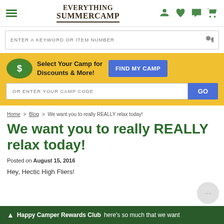[Figure (logo): Everything SummerCamp logo with hamburger menu and navigation icons (person, heart, chat, cart)]
ENTER A KEYWORD OR ITEM NUMBER
[Figure (infographic): Yellow banner with money/discount icon, 'Select Your Camp for Discounts & More!' text, FIND MY CAMP blue button, and camp code input with GO button]
Home > Blog > We want you to really REALLY relax today!
We want you to really REALLY relax today!
Posted on August 15, 2016
Hey, Hectic High Fliers!
Happy Camper Rewards Club   There's so much that we want